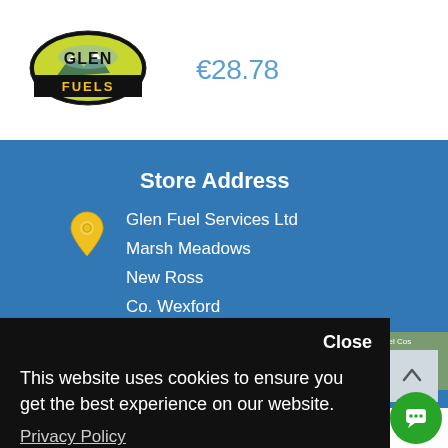[Figure (logo): Glen Fuels logo — oval black background with yellow/green mountains and bold text 'GLEN FUELS']
€28.78
Store Address
Glen Fuel Services Ltd
Marsh Meadows
New Ross
Co. Wexford
Close
This website uses cookies to ensure you get the best experience on our website.
Privacy Policy
Preferences
Accept
ADD TO CART